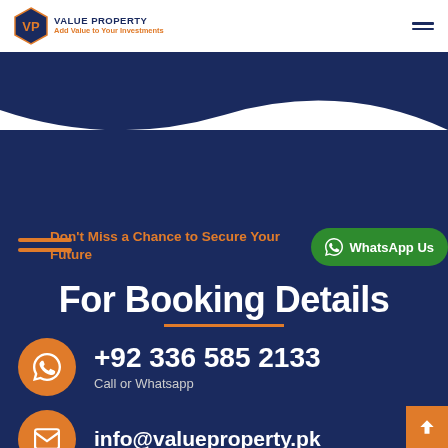Value Property — Add Value to Your Investments
Don't Miss a Chance to Secure Your Future
WhatsApp Us
For Booking Details
+92 336 585 2133
Call or Whatsapp
info@valueproperty.pk